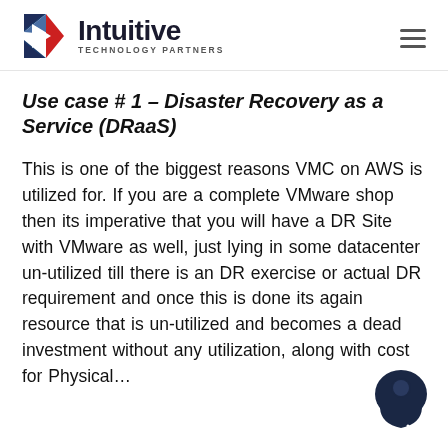[Figure (logo): Intuitive Technology Partners logo with triangular play-button icon in red, blue, and dark blue, followed by the company name.]
Use case # 1 – Disaster Recovery as a Service (DRaaS)
This is one of the biggest reasons VMC on AWS is utilized for. If you are a complete VMware shop then its imperative that you will have a DR Site with VMware as well, just lying in some datacenter un-utilized till there is an DR exercise or actual DR requirement and once this is done its again resource that is un-utilized and becomes a dead investment without any utilization, along with cost for Physical…
[Figure (illustration): Dark blue chat/support avatar icon in the bottom right corner of the page.]